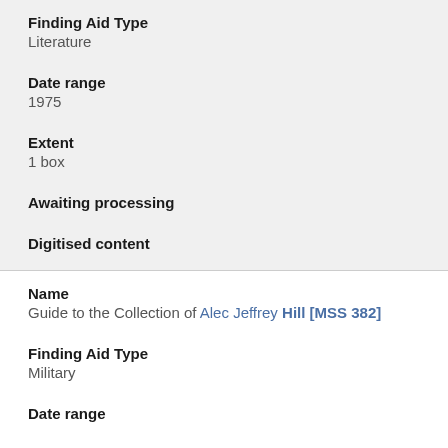Finding Aid Type
Literature
Date range
1975
Extent
1 box
Awaiting processing
Digitised content
Name
Guide to the Collection of Alec Jeffrey Hill [MSS 382]
Finding Aid Type
Military
Date range